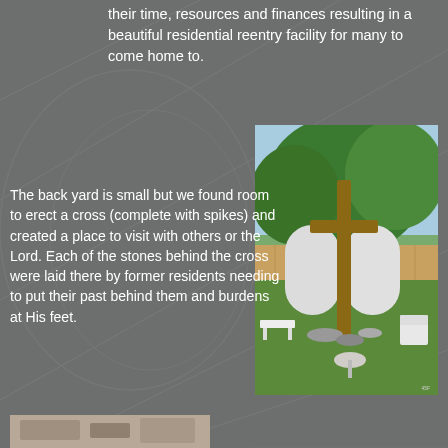their time, resources and finances resulting in a beautiful residential reentry facility for many to come home to.
[Figure (photo): Backyard scene with a large wooden cross, two large white arched stone or fiberglass pieces behind the cross, white ornate patio furniture (bench, chairs, round table) on a grassy lawn with a wooden privacy fence in the background and trees above.]
The back yard is small but we found room to erect a cross (complete with spikes) and created a place to visit with others or the Lord. Each of the stones behind the cross were laid there by former residents needing to put their past behind them and burdens at His feet.
[Figure (photo): Partial view of another photo at the bottom of the page, showing what appears to be an interior or furniture scene, cropped.]